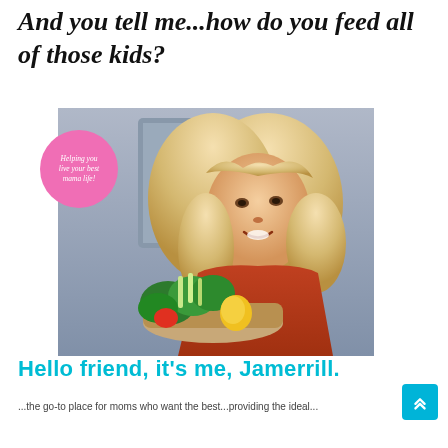And you tell me...how do you feed all of those kids?
[Figure (photo): A blonde woman in a red/orange shirt smiling at the camera in a kitchen, holding a pan with fresh vegetables (herbs, peppers, etc.). A pink circle badge overlays the upper left with text 'Helping you live your best mama life!']
Hello friend, it's me, Jamerrill.
...the go-to place for moms who want the best...providing the ideal...